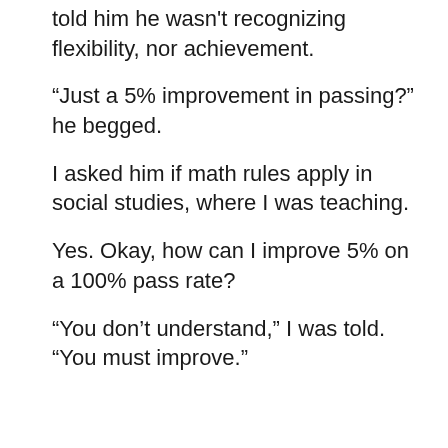told him he wasn't recognizing flexibility, nor achievement.
“Just a 5% improvement in passing?” he begged.
I asked him if math rules apply in social studies, where I was teaching.
Yes. Okay, how can I improve 5% on a 100% pass rate?
“You don’t understand,” I was told. “You must improve.”